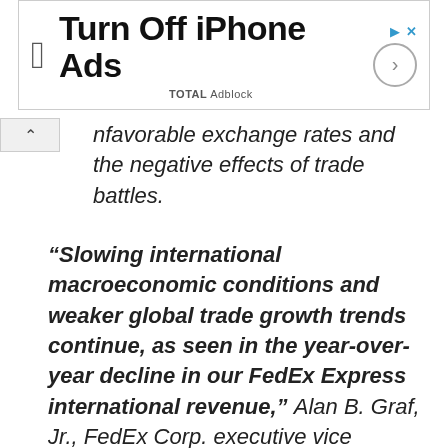[Figure (other): Advertisement banner: Apple logo, text 'Turn Off iPhone Ads', TOTAL Adblock subtext, play triangle icon, X icon, and a circle arrow button on the right.]
unfavorable exchange rates and the negative effects of trade battles.
“Slowing international macroeconomic conditions and weaker global trade growth trends continue, as seen in the year-over-year decline in our FedEx Express international revenue,” Alan B. Graf, Jr., FedEx Corp. executive vice president and